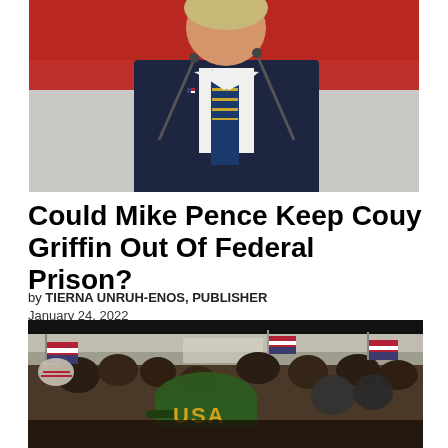[Figure (photo): Man in dark suit with blue and gold striped tie speaking at a podium with microphones, red background]
Could Mike Pence Keep Couy Griffin Out Of Federal Prison?
by TIERNA UNRUH-ENOS, PUBLISHER
January 24, 2022
[Figure (photo): Crowd scene showing protesters with USA cap and American flags, with a black bar at top]